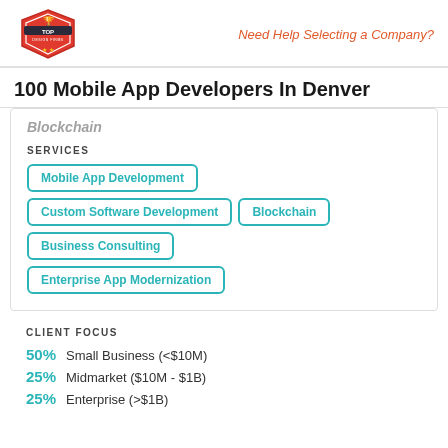Need Help Selecting a Company?
100 Mobile App Developers In Denver
Blockchain
SERVICES
Mobile App Development
Custom Software Development
Blockchain
Business Consulting
Enterprise App Modernization
CLIENT FOCUS
50% Small Business (<$10M)
25% Midmarket ($10M - $1B)
25% Enterprise (>$1B)